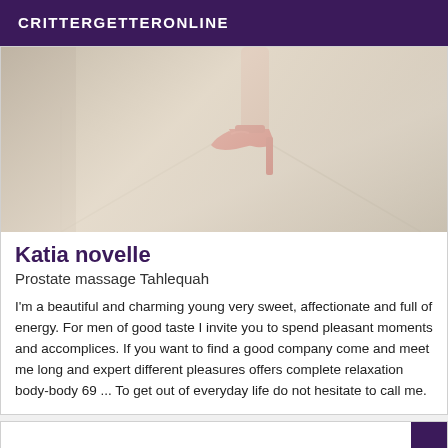CRITTERGETTERONLINE
[Figure (photo): Photo showing red high-heeled shoes on a white bed/sheet surface]
Katia novelle
Prostate massage Tahlequah
I'm a beautiful and charming young very sweet, affectionate and full of energy. For men of good taste I invite you to spend pleasant moments and accomplices. If you want to find a good company come and meet me long and expert different pleasures offers complete relaxation body-body 69 ... To get out of everyday life do not hesitate to call me.